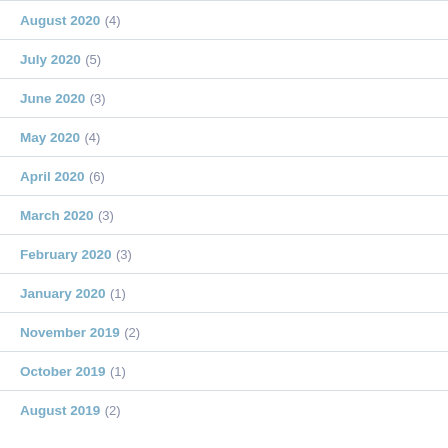August 2020 (4)
July 2020 (5)
June 2020 (3)
May 2020 (4)
April 2020 (6)
March 2020 (3)
February 2020 (3)
January 2020 (1)
November 2019 (2)
October 2019 (1)
August 2019 (2)